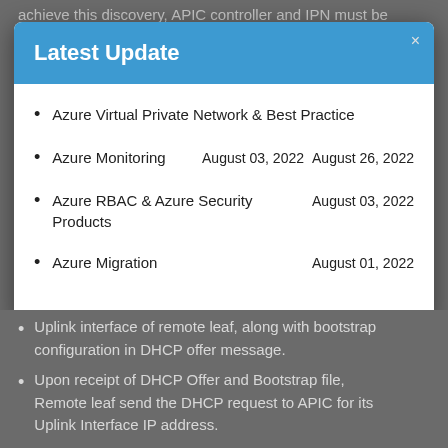achieve this discovery, APIC controller and IPN must be
Latest Update
Azure Virtual Private Network & Best Practice
Azure Monitoring    August 03, 2022   August 26, 2022
Azure RBAC & Azure Security Products    August 03, 2022
Azure Migration    August 01, 2022
Uplink interface of remote leaf, along with bootstrap configuration in DHCP offer message.
Upon receipt of DHCP Offer and Bootstrap file, Remote leaf send the DHCP request to APIC for its Uplink Interface IP address.
APIC Controller Finally sends the DHCP ACK to complete IP address allocation for Uplink IP address.
Inorder to get the Bootstrap Configuration rom APIC, Remote leaf automatically configures the static route